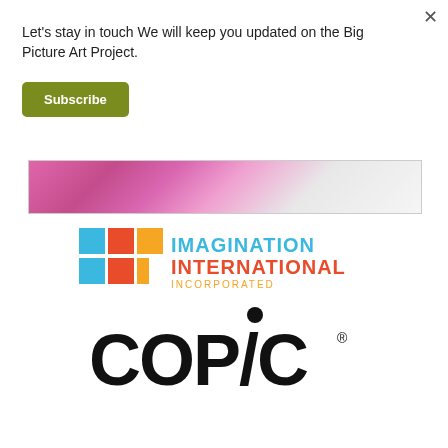Let's stay in touch We will keep you updated on the Big Picture Art Project.
Subscribe
[Figure (photo): Partial view of a painting or artwork with pink/magenta brushstrokes on a light background]
[Figure (logo): Imagination International Incorporated logo with colorful grid squares (blue, orange, red, yellow) and text in blue and orange]
[Figure (logo): Copic brand logo in bold black letters with a dot above the letter i]